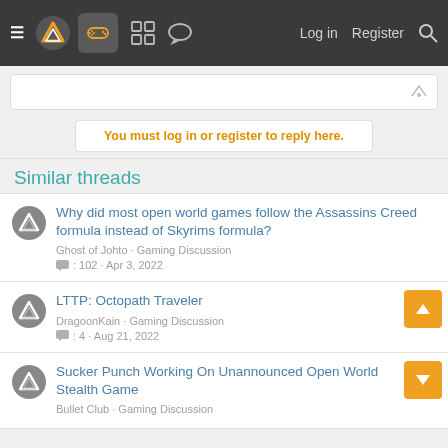Navigation bar with hamburger menu, logo, controller icon, grid icon, chat icon, Log in, Register, Search
You must log in or register to reply here.
Similar threads
Why did most open world games follow the Assassins Creed formula instead of Skyrims formula? — Ghost of Johto · Gaming Discussion — 102 · Apr 3, 2022
LTTP: Octopath Traveler — DragoonKain · Gaming Discussion — 4 · Aug 21, 2022
Sucker Punch Working On Unannounced Open World Stealth Game — Bullet Club · Gaming Discussion